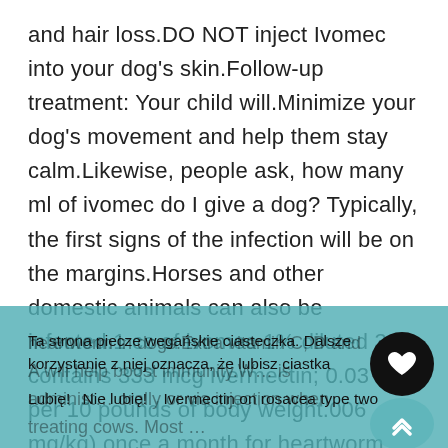and hair loss.DO NOT inject Ivomec into your dog's skin.Follow-up treatment: Your child will.Minimize your dog's movement and help them stay calm.Likewise, people ask, how many ml of ivomec do I give a dog? Typically, the first signs of the infection will be on the margins.Horses and other domestic animals can also be infected.1 cc of ivomec 1% diluted 30:1 contains 333 mcg ivermectin; 0.03 cc per 10 pounds of body weight.006 mg/kg) once a month for heartworm prevention; 0.Ivermectin is helpful for treating lice, mites, myiases and intestinal worms in cattle, while veterinarians primarily use the drug to prevent
heartworm in dogs.Extra vitamin C, D and A will help boost immunity.W... is administered orally or via injection when treating cows. Most ...
Ta strona piecze wegańskie ciasteczka. Dalsze korzystanie z niej oznacza, że lubisz ciastka
Lubię! Nie lubię! Ivermectin on rosacea type two